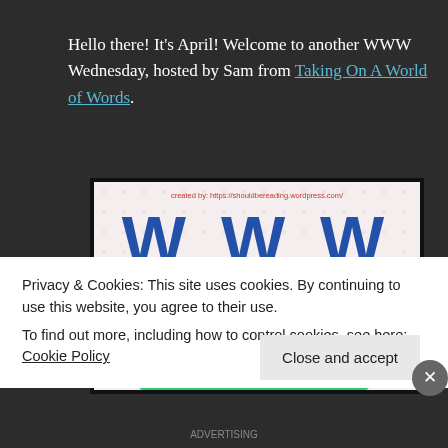Hello there! It's April! Welcome to another WWW Wednesday, hosted by Sam from Taking On A World of Words.
[Figure (illustration): WWW Wednesday meme image: large blue WWW letters on a dotted background with stacked colorful books (purple and orange), each with a 'w' on the spine. Credit text at top: 'created by: https://shouldbereading.wordpress.com/']
Privacy & Cookies: This site uses cookies. By continuing to use this website, you agree to their use.
To find out more, including how to control cookies, see here: Cookie Policy